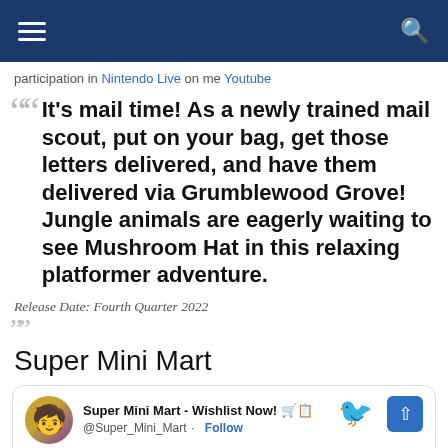[hamburger menu icon] [search icon]
participation in Nintendo Live on me Youtube
It's mail time! As a newly trained mail scout, put on your bag, get those letters delivered, and have them delivered via Grumblewood Grove! Jungle animals are eagerly waiting to see Mushroom Hat in this relaxing platformer adventure.
Release Date: Fourth Quarter 2022
Super Mini Mart
Super Mini Mart - Wishlist Now! 🛒📋 @Super_Mini_Mart · Follow
Our lil game Super Mini Mart has a Steam page 🥳